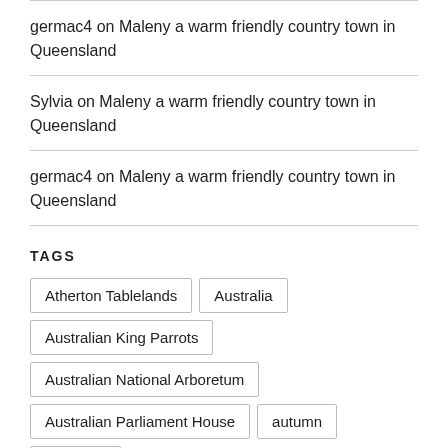germac4 on Maleny a warm friendly country town in Queensland
Sylvia on Maleny a warm friendly country town in Queensland
germac4 on Maleny a warm friendly country town in Queensland
TAGS
Atherton Tablelands
Australia
Australian King Parrots
Australian National Arboretum
Australian Parliament House
autumn
Banksias